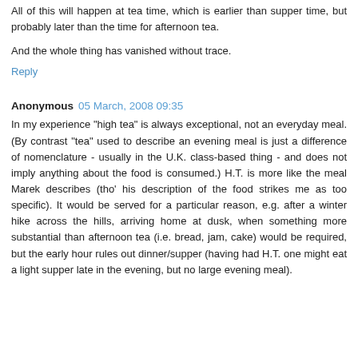All of this will happen at tea time, which is earlier than supper time, but probably later than the time for afternoon tea.
And the whole thing has vanished without trace.
Reply
Anonymous  05 March, 2008 09:35
In my experience "high tea" is always exceptional, not an everyday meal. (By contrast "tea" used to describe an evening meal is just a difference of nomenclature - usually in the U.K. class-based thing - and does not imply anything about the food is consumed.) H.T. is more like the meal Marek describes (tho' his description of the food strikes me as too specific). It would be served for a particular reason, e.g. after a winter hike across the hills, arriving home at dusk, when something more substantial than afternoon tea (i.e. bread, jam, cake) would be required, but the early hour rules out dinner/supper (having had H.T. one might eat a light supper late in the evening, but no large evening meal).